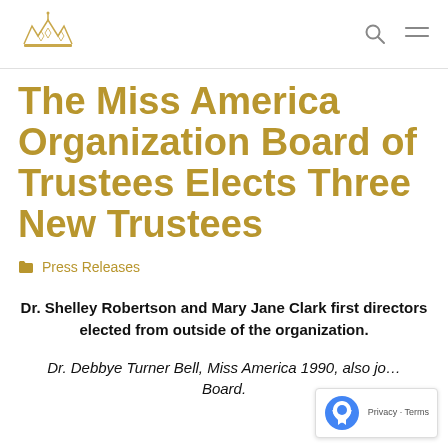Miss America Organization logo, search icon, menu icon
The Miss America Organization Board of Trustees Elects Three New Trustees
Press Releases
Dr. Shelley Robertson and Mary Jane Clark first directors elected from outside of the organization.
Dr. Debbye Turner Bell, Miss America 1990, also jo… Board.